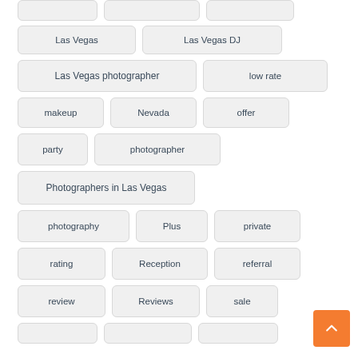Las Vegas
Las Vegas DJ
Las Vegas photographer
low rate
makeup
Nevada
offer
party
photographer
Photographers in Las Vegas
photography
Plus
private
rating
Reception
referral
review
Reviews
sale